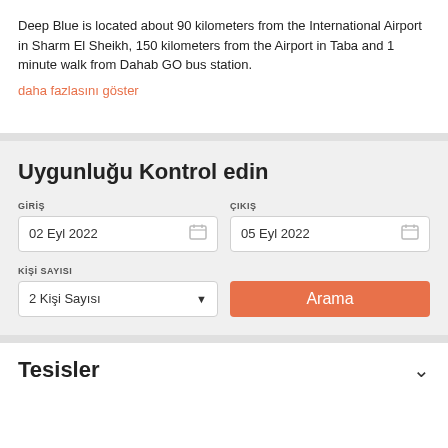Deep Blue is located about 90 kilometers from the International Airport in Sharm El Sheikh, 150 kilometers from the Airport in Taba and 1 minute walk from Dahab GO bus station.
daha fazlasını göster
Uygunluğu Kontrol edin
GİRİŞ: 02 Eyl 2022
ÇIKIŞ: 05 Eyl 2022
KİŞİ SAYISI: 2 Kişi Sayısı
Arama
Tesisler